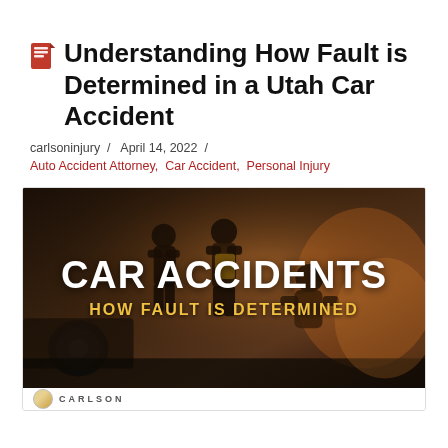Understanding How Fault is Determined in a Utah Car Accident
carlsoninjury / April 14, 2022 /
Auto Accident Attorney, Car Accident, Personal Injury
[Figure (photo): Dark photo of emergency responders at a car accident scene with text overlay reading 'CAR ACCIDENTS / HOW FAULT IS DETERMINED' and a Carlson logo at the bottom]